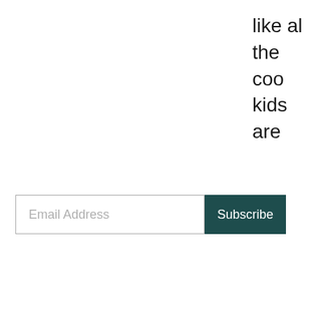like al the coo kids are
Email Address
Subscribe